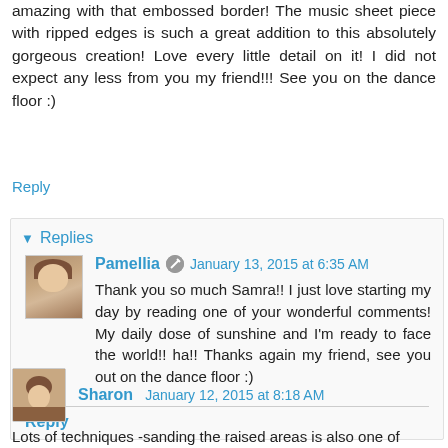amazing with that embossed border! The music sheet piece with ripped edges is such a great addition to this absolutely gorgeous creation! Love every little detail on it! I did not expect any less from you my friend!!! See you on the dance floor :)
Reply
▼ Replies
Pamellia  January 13, 2015 at 6:35 AM
Thank you so much Samra!! I just love starting my day by reading one of your wonderful comments! My daily dose of sunshine and I'm ready to face the world!! ha!! Thanks again my friend, see you out on the dance floor :)
Reply
Sharon  January 12, 2015 at 8:18 AM
Lots of techniques -sanding the raised areas is also one of